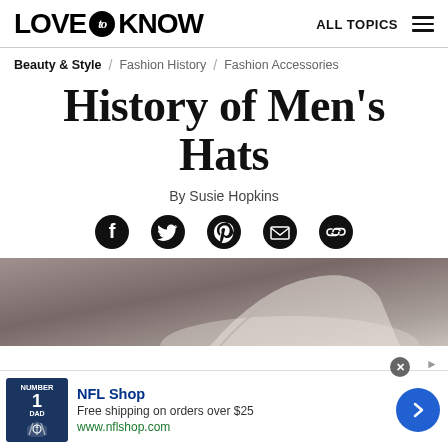LOVE to KNOW — ALL TOPICS
Beauty & Style / Fashion History / Fashion Accessories
History of Men's Hats
By Susie Hopkins
[Figure (screenshot): Social sharing icons: Facebook, Twitter, Pinterest, Email, Link]
[Figure (photo): Hero image showing a man's hat in a blurred outdoor background]
[Figure (infographic): Advertisement for NFL Shop: Free shipping on orders over $25, www.nflshop.com]